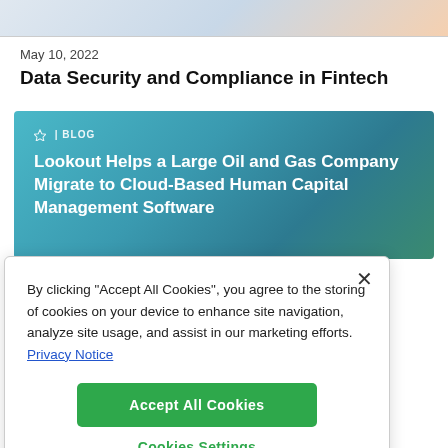[Figure (photo): Partial banner image at the top of the page, showing a blurred light-colored background with pastel tones.]
May 10, 2022
Data Security and Compliance in Fintech
[Figure (screenshot): Blog card with teal/blue-green gradient background showing a Lookout blog post titled 'Lookout Helps a Large Oil and Gas Company Migrate to Cloud-Based Human Capital Management Software' with a 'BLOG' label at the top.]
By clicking "Accept All Cookies", you agree to the storing of cookies on your device to enhance site navigation, analyze site usage, and assist in our marketing efforts. Privacy Notice
Accept All Cookies
Cookies Settings